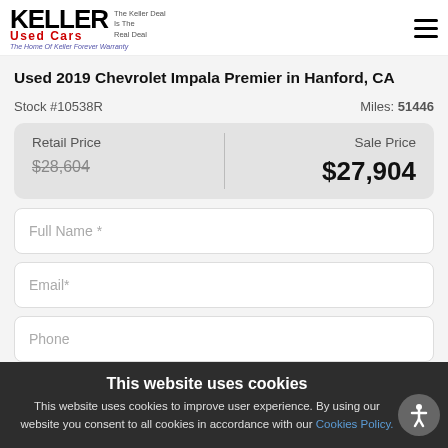Keller Used Cars — The Keller Deal Is The Real Deal — The Home Of Keller Forever Warranty
Used 2019 Chevrolet Impala Premier in Hanford, CA
Stock #10538R    Miles: 51446
| Retail Price | Sale Price |
| --- | --- |
| $28,604 | $27,904 |
Full Name *
Email*
Phone
This website uses cookies
This website uses cookies to improve user experience. By using our website you consent to all cookies in accordance with our Cookies Policy.